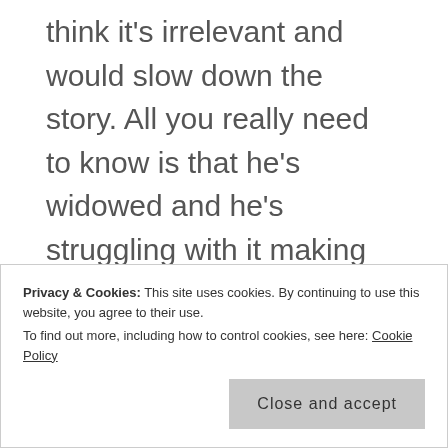think it's irrelevant and would slow down the story. All you really need to know is that he's widowed and he's struggling with it making poor choices. I don't think we'll need a back story to show that.
This scene is to set up the boss, Jimmy and his cronies, Perry and Martin. Perry and Martin are based on real people that I've worked with and are such cool people that I came up with this idea
Privacy & Cookies: This site uses cookies. By continuing to use this website, you agree to their use. To find out more, including how to control cookies, see here: Cookie Policy